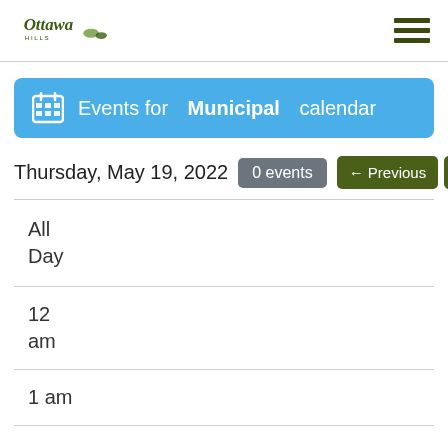Ottawa Hills village logo and navigation menu
Events for Municipal calendar
Thursday, May 19, 2022  0 events  ← Previous  Next →
All Day
12 am
1 am